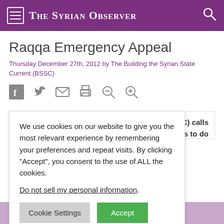The Syrian Observer
Raqqa Emergency Appeal
Thursday December 27th, 2012 by The Building the Syrian State Current (BSSC)
[Figure (other): Social sharing icons: Facebook, Twitter, Email, Print, Zoom out, Zoom in]
BSSC) calls l actors to do humanitarian
We use cookies on our website to give you the most relevant experience by remembering your preferences and repeat visits. By clicking “Accept”, you consent to the use of ALL the cookies.

Do not sell my personal information.

[Cookie Settings] [Accept]
Subscribe to our newsletter
An increasing number of reports indicate that armed anti-